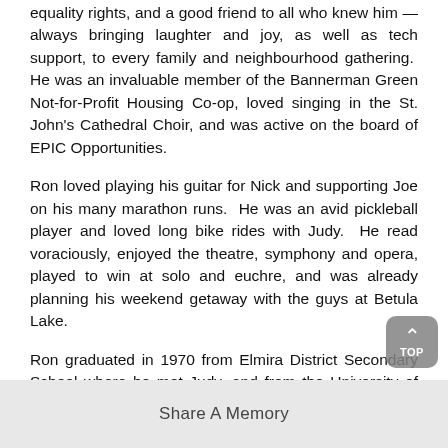equality rights, and a good friend to all who knew him — always bringing laughter and joy, as well as tech support, to every family and neighbourhood gathering. He was an invaluable member of the Bannerman Green Not-for-Profit Housing Co-op, loved singing in the St. John's Cathedral Choir, and was active on the board of EPIC Opportunities.
Ron loved playing his guitar for Nick and supporting Joe on his many marathon runs. He was an avid pickleball player and loved long bike rides with Judy. He read voraciously, enjoyed the theatre, symphony and opera, played to win at solo and euchre, and was already planning his weekend getaway with the guys at Betula Lake.
Ron graduated in 1970 from Elmira District Secondary School where he met Judy, and from the University of Waterloo in 1974 with an Honours BA in Math and Computer Science after which he worked as a computer technologist, most recently with Peaceworks Technology Solutions, a B Corp, using the power of business to solve social and environmental problems.
A celebration of Ron's life will be held at St. John's Cathedral, 135 Anderson Ave., at 2pm on June 21, 2022. Masks and
Share A Memory